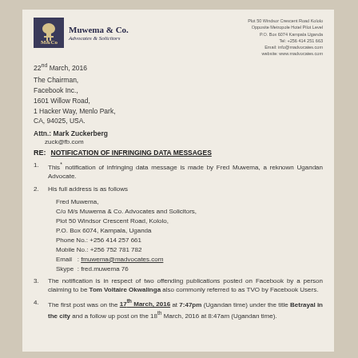Muwema & Co. Advocates & Solicitors — letterhead with address details
22nd March, 2016
The Chairman,
Facebook Inc.,
1601 Willow Road,
1 Hacker Way, Menlo Park,
CA, 94025, USA.
Attn.: Mark Zuckerberg
zuck@fb.com
RE: NOTIFICATION OF INFRINGING DATA MESSAGES
1. This notification of infringing data message is made by Fred Muwema, a reknown Ugandan Advocate.
2. His full address is as follows
Fred Muwema,
C/o M/s Muwema & Co. Advocates and Solicitors,
Plot 50 Windsor Crescent Road, Kololo,
P.O. Box 6074, Kampala, Uganda
Phone No.: +256 414 257 661
Mobile No.: +256 752 781 782
Email  : fmuwema@madvocates.com
Skype : fred.muwema 76
3. The notification is in respect of two offending publications posted on Facebook by a person claiming to be Tom Voltaire Okwalinga also commonly referred to as TVO by Facebook Users.
4. The first post was on the 17th March, 2016 at 7:47pm (Ugandan time) under the title Betrayal in the city and a follow up post on the 18th March, 2016 at 8:47am (Ugandan time).